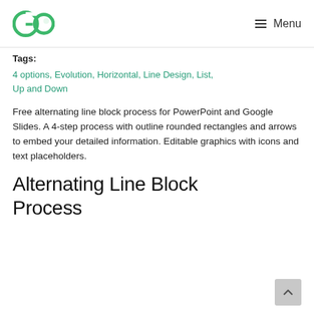GO  Menu
Tags:
4 options, Evolution, Horizontal, Line Design, List, Up and Down
Free alternating line block process for PowerPoint and Google Slides. A 4-step process with outline rounded rectangles and arrows to embed your detailed information. Editable graphics with icons and text placeholders.
Alternating Line Block Process